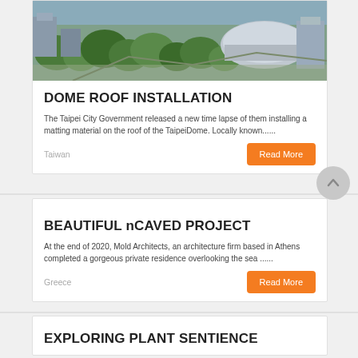[Figure (photo): Aerial view of Taipei city with the TaipeiDome building visible among trees and urban structures]
DOME ROOF INSTALLATION
The Taipei City Government released a new time lapse of them installing a matting material on the roof of the TaipeiDome. Locally known......
Taiwan
Read More
BEAUTIFUL nCAVED PROJECT
At the end of 2020, Mold Architects, an architecture firm based in Athens completed a gorgeous private residence overlooking the sea ......
Greece
Read More
EXPLORING PLANT SENTIENCE